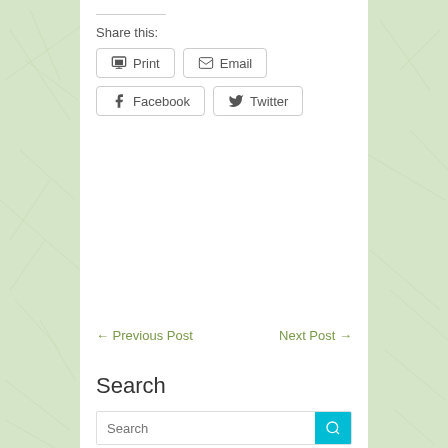Share this:
Print
Email
Facebook
Twitter
← Previous Post
Next Post →
Search
Search